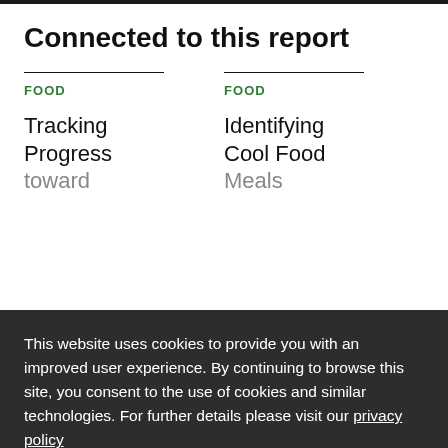Connected to this report
FOOD
FOOD
Tracking Progress
Identifying Cool Food
toward
Meals
This website uses cookies to provide you with an improved user experience. By continuing to browse this site, you consent to the use of cookies and similar technologies. For further details please visit our privacy policy
Okay